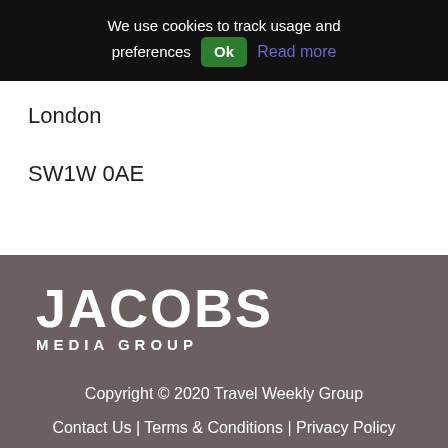We use cookies to track usage and preferences Ok Read more
London
SW1W 0AE
[Figure (logo): Jacobs Media Group logo in white text on dark brownish-grey background]
Copyright © 2020 Travel Weekly Group
Contact Us | Terms & Conditions | Privacy Policy